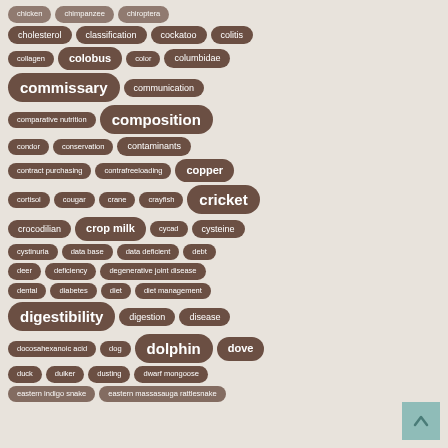[Figure (infographic): Tag cloud of animal nutrition and zoology keywords in rounded pill-shaped badges, sized by frequency/importance, on a beige background. Terms include cholesterol, classification, cockatoo, colitis, collagen, colobus, color, columbidae, commissary, communication, comparative nutrition, composition, condor, conservation, contaminants, contract purchasing, contrafreeloading, copper, cortisol, cougar, crane, crayfish, cricket, crocodilian, crop milk, cycad, cysteine, cystinuria, data base, data deficient, debt, deer, deficiency, degenerative joint disease, dental, diabetes, diet, diet management, digestibility, digestion, disease, docosahexanoic acid, dog, dolphin, dove, duck, duiker, dusting, dwarf mongoose]